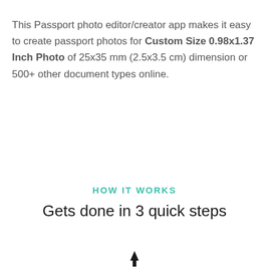This Passport photo editor/creator app makes it easy to create passport photos for Custom Size 0.98x1.37 Inch Photo of 25x35 mm (2.5x3.5 cm) dimension or 500+ other document types online.
HOW IT WORKS
Gets done in 3 quick steps